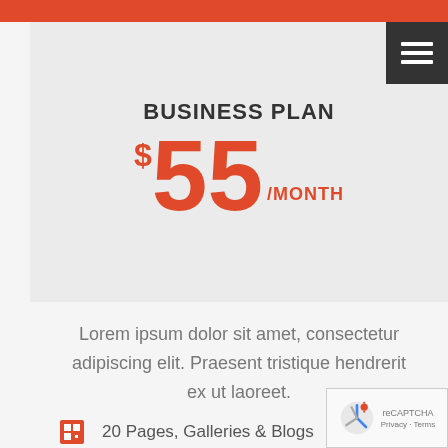BUSINESS PLAN
$55/MONTH
Lorem ipsum dolor sit amet, consectetur adipiscing elit. Praesent tristique hendrerit ex ut laoreet.
20 Pages, Galleries & Blogs
500 GB Bandwidth